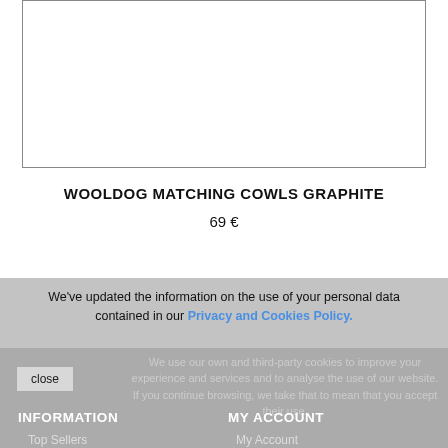[Figure (other): Product image placeholder box with border, empty white interior]
WOOLDOG MATCHING COWLS GRAPHITE
69 €
We've updated the information on the use of your personal data contained in our Privacy and Cookies Policy.
We use our own and third-party cookies to improve your experience and services and to analyse the use of our website. If you continue browsing, we take that to mean that you accept their use.
close
INFORMATION
MY ACCOUNT
Top Sellers
My Account